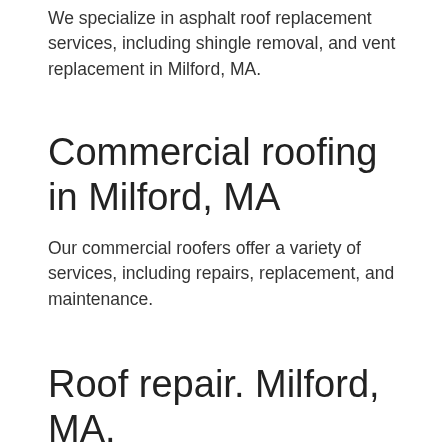We specialize in asphalt roof replacement services, including shingle removal, and vent replacement in Milford, MA.
Commercial roofing in Milford, MA
Our commercial roofers offer a variety of services, including repairs, replacement, and maintenance.
Roof repair. Milford, MA.
If you need a roof replacement